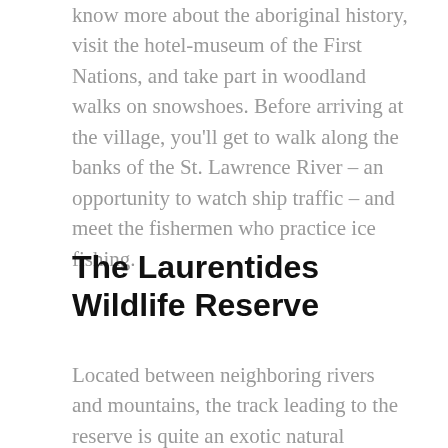know more about the aboriginal history, visit the hotel-museum of the First Nations, and take part in woodland walks on snowshoes. Before arriving at the village, you'll get to walk along the banks of the St. Lawrence River – an opportunity to watch ship traffic – and meet the fishermen who practice ice fishing.
The Laurentides Wildlife Reserve
Located between neighboring rivers and mountains, the track leading to the reserve is quite an exotic natural setting. For those wishing to venture into a wild and preserved